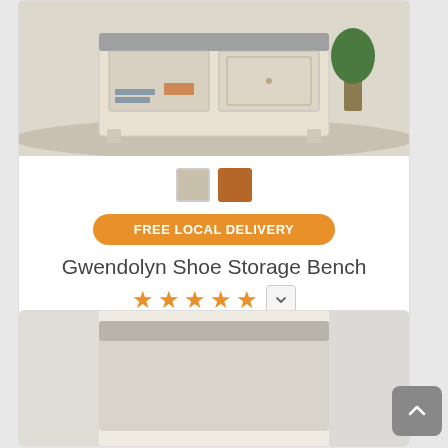[Figure (photo): White/whitewashed wood shoe storage bench with padded seat cushion, open cubby shelves and cabinet door, shown on a rug]
[Figure (other): Two color swatches: beige/light gray and brown/tan]
FREE LOCAL DELIVERY
Gwendolyn Shoe Storage Bench
[Figure (other): 5-star rating with dropdown chevron button]
Original Price $917.00
$642.00
(save 30%)
[Figure (photo): Bottom of another product card showing partial image of a second piece of furniture]